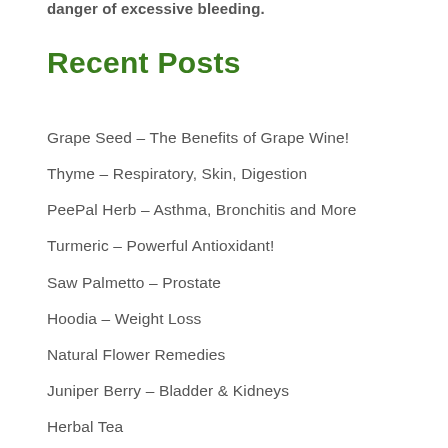danger of excessive bleeding.
Recent Posts
Grape Seed – The Benefits of Grape Wine!
Thyme – Respiratory, Skin, Digestion
PeePal Herb – Asthma, Bronchitis and More
Turmeric – Powerful Antioxidant!
Saw Palmetto – Prostate
Hoodia – Weight Loss
Natural Flower Remedies
Juniper Berry – Bladder & Kidneys
Herbal Tea